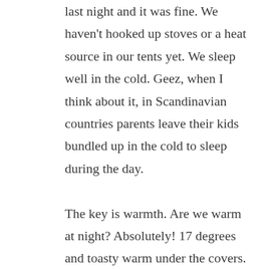last night and it was fine. We haven't hooked up stoves or a heat source in our tents yet. We sleep well in the cold. Geez, when I think about it, in Scandinavian countries parents leave their kids bundled up in the cold to sleep during the day.

The key is warmth. Are we warm at night? Absolutely! 17 degrees and toasty warm under the covers. No fear of Simmi being cold either. If she were cold, believe me, we would NOT hear the end of it. The protesting would start and not stop until we got her warm.